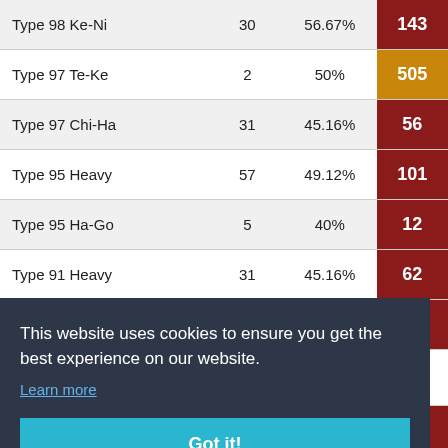|  |  |  |  |
| --- | --- | --- | --- |
| Type 98 Ke-Ni | 30 | 56.67% | 143 |
| Type 97 Te-Ke | 2 | 50% | 505 |
| Type 97 Chi-Ha | 31 | 45.16% | 56 |
| Type 95 Heavy | 57 | 49.12% | 101 |
| Type 95 Ha-Go | 5 | 40% | 12 |
| Type 91 Heavy | 31 | 45.16% | 62 |
| Type 89 I-Go/Chi-Ro | 15 | 46.67% | 52 |
This website uses cookies to ensure you get the best experience on our website. Learn more
Got it!